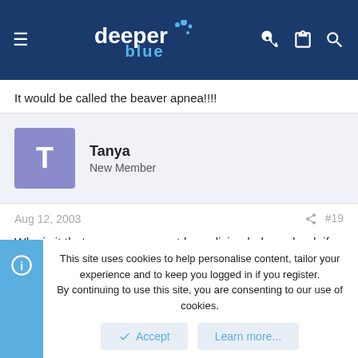deeper blue — navigation header
It would be called the beaver apnea!!!!
Tanya
New Member
Aug 12, 2003  #19
Why is it that someone cannot be a diving babe or hunk if they are married or with a significant other. Do they become ugly just because they have found someone to be with???? Single, Together or married can still be a hunk or babe!!!!!!!
This site uses cookies to help personalise content, tailor your experience and to keep you logged in if you register.
By continuing to use this site, you are consenting to our use of cookies.